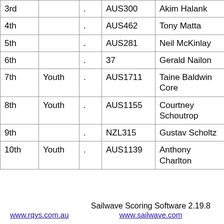| Place | Special | . | Sail No | Helm | Division | Gender | Fleet |
| --- | --- | --- | --- | --- | --- | --- | --- |
| 3rd |  | . | AUS300 | Akim Halank | GM | Male | LV... |
| 4th |  | . | AUS462 | Tony Matta | GM | Male | LV... |
| 5th |  | . | AUS281 | Neil McKinlay | Veteran | Male | LV... |
| 6th |  | . | 37 | Gerald Nailon | Veteran | Male | HV... |
| 7th | Youth | . | AUS1711 | Taine Baldwin Core | Youth | Male |  |
| 8th | Youth | . | AUS1155 | Courtney Schoutrop | Youth | Female |  |
| 9th |  | . | NZL315 | Gustav Scholtz | GM | Male | HV... |
| 10th | Youth | . | AUS1139 | Anthony Charlton | Youth | Male |  |
www.rqys.com.au    Sailwave Scoring Software 2.19.8    www.sailwave.com